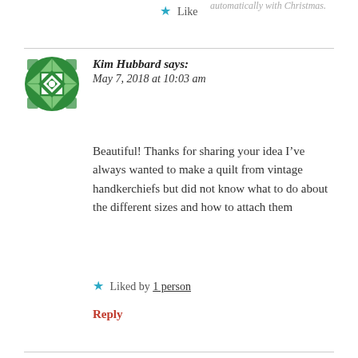Like
[Figure (illustration): Green geometric quilt-pattern avatar icon for Kim Hubbard]
Kim Hubbard says:
May 7, 2018 at 10:03 am
Beautiful! Thanks for sharing your idea I’ve always wanted to make a quilt from vintage handkerchiefs but did not know what to do about the different sizes and how to attach them
Liked by 1 person
Reply